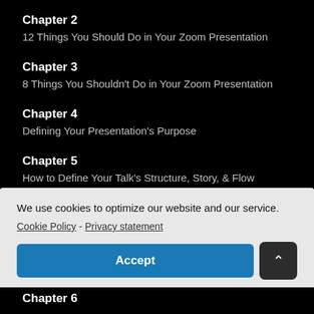Chapter 2
12 Things You Should Do in Your Zoom Presentation
Chapter 3
8 Things You Shouldn't Do in Your Zoom Presentation
Chapter 4
Defining Your Presentation's Purpose
Chapter 5
How to Define Your Talk's Structure, Story, & Flow
We use cookies to optimize our website and our service. Cookie Policy - Privacy statement
Accept
Chapter 6